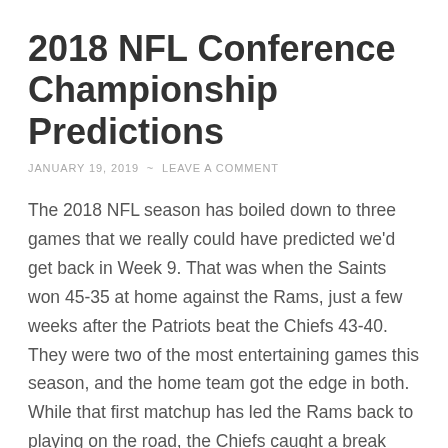2018 NFL Conference Championship Predictions
JANUARY 19, 2019  ~  LEAVE A COMMENT
The 2018 NFL season has boiled down to three games that we really could have predicted we'd get back in Week 9. That was when the Saints won 45-35 at home against the Rams, just a few weeks after the Patriots beat the Chiefs 43-40. They were two of the most entertaining games this season, and the home team got the edge in both. While that first matchup has led the Rams back to playing on the road, the Chiefs caught a break from the Dolphins in keeping the Patriots at the No. 2 seed for a change. With expectations for more scoring fests this weekend, it's